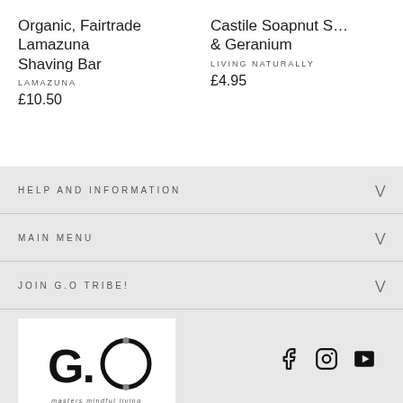Organic, Fairtrade Lamazuna Shaving Bar
LAMAZUNA
£10.50
Castile Soapnut S… & Geranium
LIVING NATURALLY
£4.95
HELP AND INFORMATION
MAIN MENU
JOIN G.O TRIBE!
[Figure (logo): G.O logo with circular design and tagline 'masters mindful living']
[Figure (infographic): Social media icons: Facebook, Instagram, YouTube]